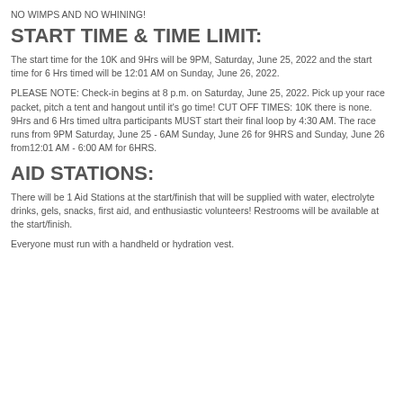NO WIMPS AND NO WHINING!
START TIME & TIME LIMIT:
The start time for the 10K and 9Hrs will be 9PM, Saturday, June 25, 2022 and the start time for 6 Hrs timed will be 12:01 AM on Sunday, June 26, 2022.
PLEASE NOTE: Check-in begins at 8 p.m. on Saturday, June 25, 2022. Pick up your race packet, pitch a tent and hangout until it's go time! CUT OFF TIMES: 10K there is none. 9Hrs and 6 Hrs timed ultra participants MUST start their final loop by 4:30 AM. The race runs from 9PM Saturday, June 25 - 6AM Sunday, June 26 for 9HRS and Sunday, June 26 from12:01 AM - 6:00 AM for 6HRS.
AID STATIONS:
There will be 1 Aid Stations at the start/finish that will be supplied with water, electrolyte drinks, gels, snacks, first aid, and enthusiastic volunteers! Restrooms will be available at the start/finish.
Everyone must run with a handheld or hydration vest.